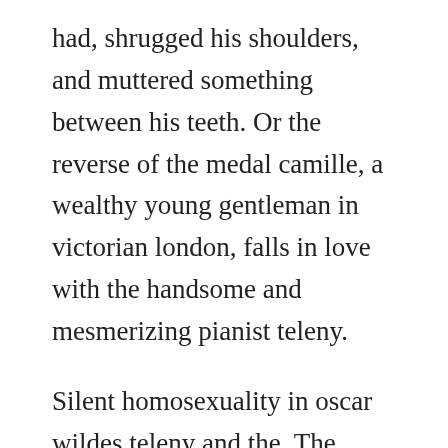had, shrugged his shoulders, and muttered something between his teeth. Or the reverse of the medal camille, a wealthy young gentleman in victorian london, falls in love with the handsome and mesmerizing pianist teleny.
Silent homosexuality in oscar wildes teleny and the. The main character is madly in love with teleny and they share a beautiful love story. He wrote the picture of dorian gray, and the plays salome, the importance of being earnest, an ideal husband, and lady windermeres fan. Considered an eccentric, he